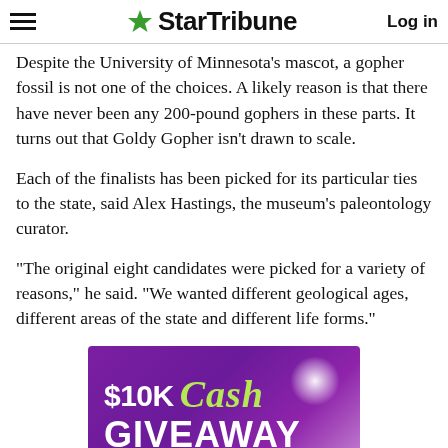StarTribune | Log in
Despite the University of Minnesota's mascot, a gopher fossil is not one of the choices. A likely reason is that there have never been any 200-pound gophers in these parts. It turns out that Goldy Gopher isn't drawn to scale.
Each of the finalists has been picked for its particular ties to the state, said Alex Hastings, the museum's paleontology curator.
"The original eight candidates were picked for a variety of reasons," he said. "We wanted different geological ages, different areas of the state and different life forms."
[Figure (other): $10K Cash Giveaway promotional banner advertisement with purple gradient background]